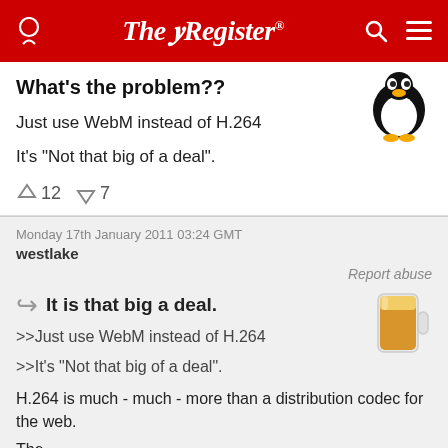The Register
What's the problem??
Just use WebM instead of H.264
It's "Not that big of a deal".
↑12  ↓7
Monday 17th January 2011 03:24 GMT
westlake
Report abuse
It is that big a deal.
>>Just use WebM instead of H.264
>>It's "Not that big of a deal".
H.264 is much - much - more than a distribution codec for the web.
The...